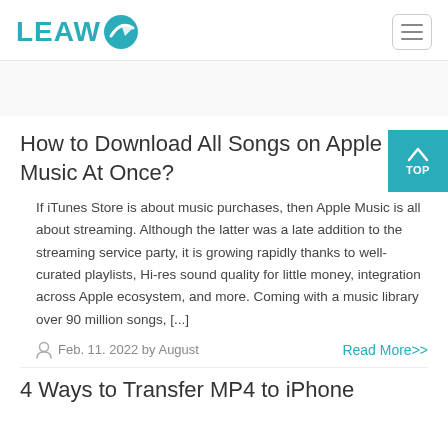LEAWO
How to Download All Songs on Apple Music At Once?
If iTunes Store is about music purchases, then Apple Music is all about streaming. Although the latter was a late addition to the streaming service party, it is growing rapidly thanks to well-curated playlists, Hi-res sound quality for little money, integration across Apple ecosystem, and more. Coming with a music library over 90 million songs, [...]
Feb. 11. 2022 by August
Read More>>
4 Ways to Transfer MP4 to iPhone